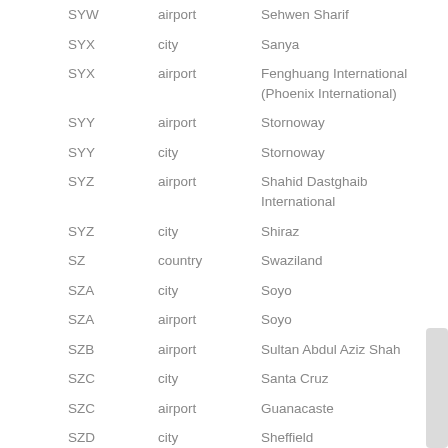| Code | Type | Name | Location |
| --- | --- | --- | --- |
| SYW | airport | Sehwen Sharif | Sehwen Sharif |
| SYX | city | Sanya | China |
| SYX | airport | Fenghuang International (Phoenix International) | Sanya |
| SYY | airport | Stornoway | Stornoway |
| SYY | city | Stornoway | United Kingdom |
| SYZ | airport | Shahid Dastghaib International | Shiraz |
| SYZ | city | Shiraz | Iran |
| SZ | country | Swaziland |  |
| SZA | city | Soyo | Angola |
| SZA | airport | Soyo | Soyo |
| SZB | airport | Sultan Abdul Aziz Shah | Kuala Lumpur |
| SZC | city | Santa Cruz | Costa Rica |
| SZC | airport | Guanacaste | Santa Cruz |
| SZD | city | Sheffield | United Kingdom |